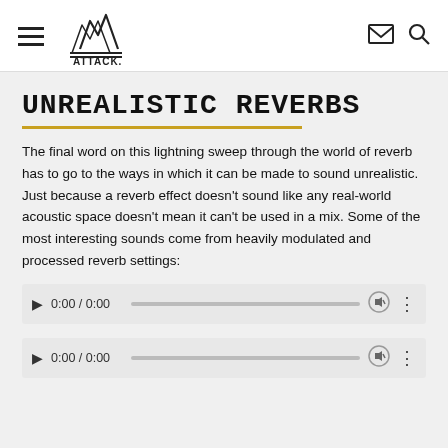ATTACK. (navigation header with hamburger menu, logo, mail icon, search icon)
UNREALISTIC REVERBS
The final word on this lightning sweep through the world of reverb has to go to the ways in which it can be made to sound unrealistic. Just because a reverb effect doesn't sound like any real-world acoustic space doesn't mean it can't be used in a mix. Some of the most interesting sounds come from heavily modulated and processed reverb settings:
[Figure (screenshot): Audio player control bar showing play button, time 0:00 / 0:00, progress bar, volume icon, and options icon]
[Figure (screenshot): Audio player control bar showing play button, time 0:00 / 0:00, progress bar, volume icon, and options icon]